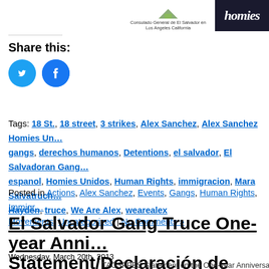[Figure (logo): Consulado General de El Salvador en Los Angeles California logo with text]
[Figure (logo): Homies Unidos logo/banner with dark background]
Share this:
[Figure (other): Twitter and Facebook social sharing icon buttons (blue circles)]
Tags: 18 St., 18 street, 3 strikes, Alex Sanchez, Alex Sanchez Homies Unidos, gangs, derechos humanos, Detentions, el salvador, El Salvadoran Gangs, espanol, Homies Unidos, Human Rights, immigracion, Mara Salvatrucha, Hayden, truce, We Are Alex, wearealex
Posted in Actions, Alex Sanchez, Events, Gangs, Human Rights, Immigr…, Movements, Uncategorized | No Comments »
El Salvador Gang Truce One-year Anni… Statement/Declaración de TAGSPPES … Un Año de la Tregua en El Salvador
Wednesday, March 20th, 2013
TAGSPPES Statement on the One-year Anniversary of
[Figure (photo): Partially visible image placeholder at bottom right of page]